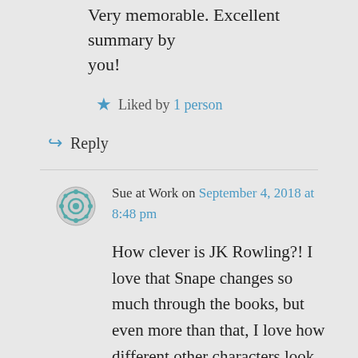Very memorable. Excellent summary by you!
Liked by 1 person
Reply
Sue at Work on September 4, 2018 at 8:48 pm
How clever is JK Rowling?! I love that Snape changes so much through the books, but even more than that, I love how different other characters look through Snape's eyes as we get to know him better and better. In particular Snape doesn't seem to think that Harry's